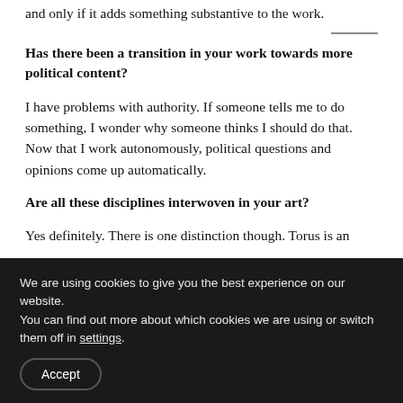and only if it adds something substantive to the work.
Has there been a transition in your work towards more political content?
I have problems with authority. If someone tells me to do something, I wonder why someone thinks I should do that. Now that I work autonomously, political questions and opinions come up automatically.
Are all these disciplines interwoven in your art?
Yes definitely. There is one distinction though. Torus is an
We are using cookies to give you the best experience on our website.
You can find out more about which cookies we are using or switch them off in settings.
Accept